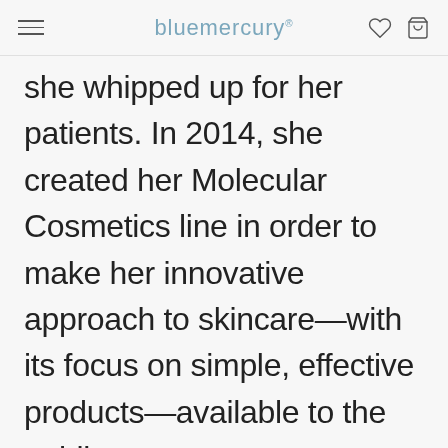bluemercury
she whipped up for her patients. In 2014, she created her Molecular Cosmetics line in order to make her innovative approach to skincare—with its focus on simple, effective products—available to the public.